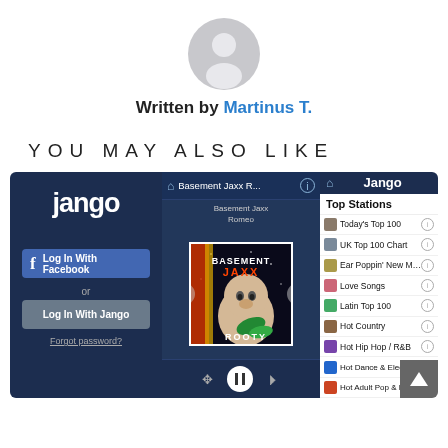[Figure (illustration): Generic gray user avatar circle icon]
Written by Martinus T.
YOU MAY ALSO LIKE
[Figure (screenshot): Screenshot of Jango music app showing login panel, Basement Jaxx player with album art for Rooty, and Top Stations list including Today's Top 100, UK Top 100 Chart, Ear Poppin' New Music, Love Songs, Latin Top 100, Hot Country, Hot Hip Hop / R&B, Hot Dance & Electro Hits, Hot Adult Pop & Rock]